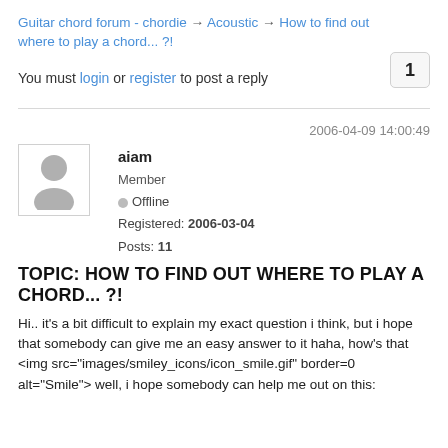Guitar chord forum - chordie → Acoustic → How to find out where to play a chord... ?!
1
You must login or register to post a reply
2006-04-09 14:00:49
[Figure (illustration): Generic user avatar icon showing a silhouette of a person]
aiam
Member
Offline
Registered: 2006-03-04
Posts: 11
TOPIC: HOW TO FIND OUT WHERE TO PLAY A CHORD... ?!
Hi.. it's a bit difficult to explain my exact question i think, but i hope that somebody can give me an easy answer to it haha, how's that <img src="images/smiley_icons/icon_smile.gif" border=0 alt="Smile"> well, i hope somebody can help me out on this: